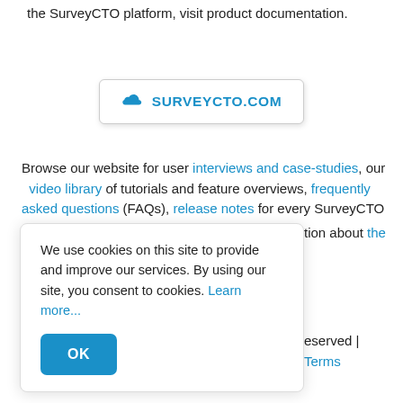the SurveyCTO platform, visit product documentation.
[Figure (other): Button/link to SURVEYCTO.COM with cloud icon]
Browse our website for user interviews and case-studies, our video library of tutorials and feature overviews, frequently asked questions (FAQs), release notes for every SurveyCTO ...tion about the ...
We use cookies on this site to provide and improve our services. By using our site, you consent to cookies. Learn more...
...eserved | Terms